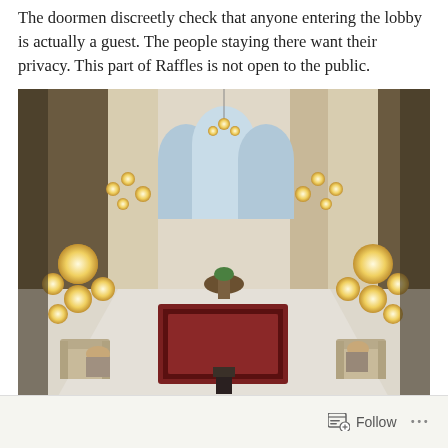The doormen discreetly check that anyone entering the lobby is actually a guest. The people staying there want their privacy. This part of Raffles is not open to the public.
[Figure (photo): Interior photo of the Raffles Hotel lobby viewed from above, showing a grand hall with marble floors, a large ornate rug in the center, multiple chandeliers and floor lamps, arched windows, armchairs arranged in seating groups on both sides, and guests sitting in chairs.]
Follow ···